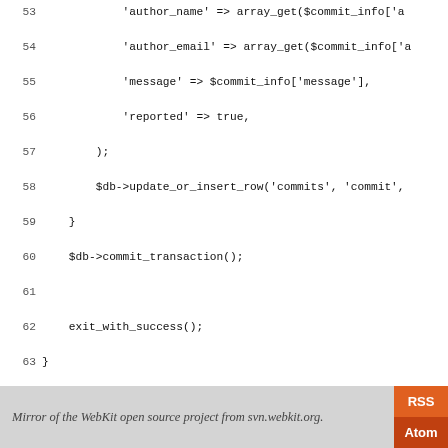[Figure (screenshot): Source code listing in PHP showing lines 53-81 of a script. Lines include array assignments for author_email, message, reported fields, database update_or_insert_row call, commit_transaction, exit_with_success, a verify_builder function with array_key_exists checks, builder_info array, matched_builder selection, and main call with $HTTP_RAW_POST_DATA, ending with PHP close tag.]
Mirror of the WebKit open source project from svn.webkit.org.